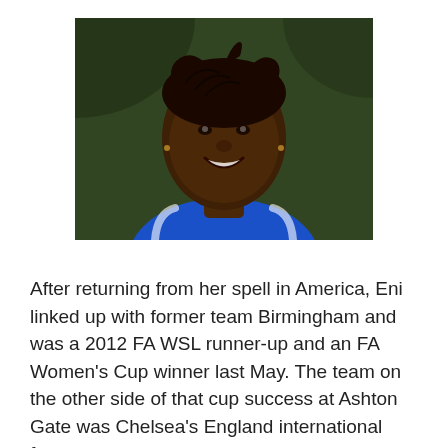[Figure (photo): Portrait photo of a young Black woman with braided hair pulled back, smiling, wearing a blue sports jersey with white stripes, against a dark green background.]
After returning from her spell in America, Eni linked up with former team Birmingham and was a 2012 FA WSL runner-up and an FA Women's Cup winner last May. The team on the other side of that cup success at Ashton Gate was Chelsea's England international former